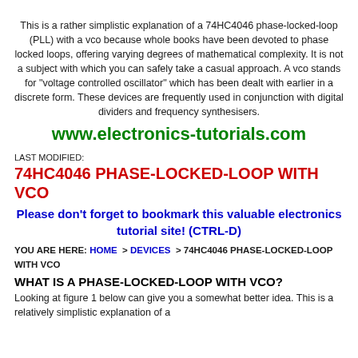This is a rather simplistic explanation of a 74HC4046 phase-locked-loop (PLL) with a vco because whole books have been devoted to phase locked loops, offering varying degrees of mathematical complexity. It is not a subject with which you can safely take a casual approach. A vco stands for "voltage controlled oscillator" which has been dealt with earlier in a discrete form. These devices are frequently used in conjunction with digital dividers and frequency synthesisers.
www.electronics-tutorials.com
LAST MODIFIED:
74HC4046 PHASE-LOCKED-LOOP WITH VCO
Please don't forget to bookmark this valuable electronics tutorial site! (CTRL-D)
YOU ARE HERE: HOME > DEVICES > 74HC4046 PHASE-LOCKED-LOOP WITH VCO
WHAT IS A PHASE-LOCKED-LOOP WITH VCO?
Looking at figure 1 below can give you a somewhat better idea. This is a relatively simplistic explanation of a